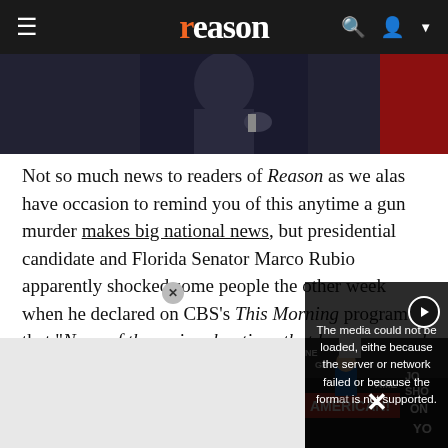reason
[Figure (photo): Partial photo of a person on stage, dark background, visible from torso area]
Not so much news to readers of Reason as we alas have occasion to remind you of this anytime a gun murder makes big national news, but presidential candidate and Florida Senator Marco Rubio apparently shocked some people the other week when he declared on CBS's This Morning program that "None of the major shootings that have occurred in this country over the last few years that have [been prevented them.
[Figure (screenshot): Video player error overlay: 'The media could not be loaded, either because the server or network failed or because the format is not supported.' with close X button and play button icon. Behind it: protest scene with signs reading AMERICAN!, NE, SHO, AME, ON.]